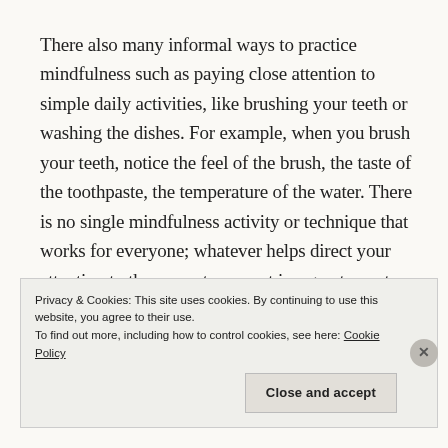There also many informal ways to practice mindfulness such as paying close attention to simple daily activities, like brushing your teeth or washing the dishes. For example, when you brush your teeth, notice the feel of the brush, the taste of the toothpaste, the temperature of the water. There is no single mindfulness activity or technique that works for everyone; whatever helps direct your attention to the current moment is a great way to practice.
As you begin your mindfulness practice, The CHIME
Privacy & Cookies: This site uses cookies. By continuing to use this website, you agree to their use. To find out more, including how to control cookies, see here: Cookie Policy
Close and accept